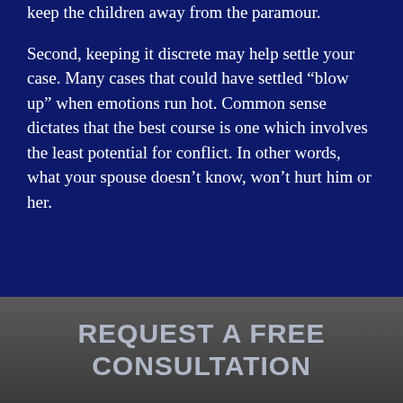keep the children away from the paramour.
Second, keeping it discrete may help settle your case. Many cases that could have settled “blow up” when emotions run hot. Common sense dictates that the best course is one which involves the least potential for conflict. In other words, what your spouse doesn’t know, won’t hurt him or her.
REQUEST A FREE CONSULTATION